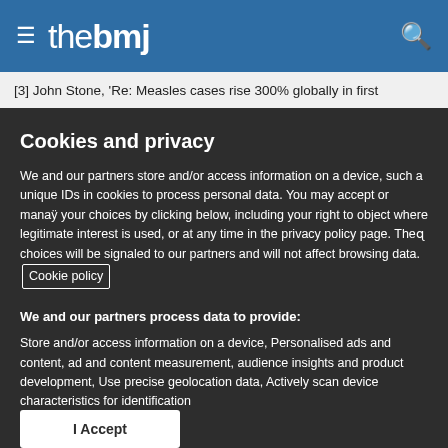the bmj
[3] John Stone, 'Re: Measles cases rise 300% globally in first
Cookies and privacy
We and our partners store and/or access information on a device, such as unique IDs in cookies to process personal data. You may accept or manage your choices by clicking below, including your right to object where legitimate interest is used, or at any time in the privacy policy page. These choices will be signaled to our partners and will not affect browsing data. Cookie policy
We and our partners process data to provide:
Store and/or access information on a device, Personalised ads and content, ad and content measurement, audience insights and product development, Use precise geolocation data, Actively scan device characteristics for identification
List of Partners (vendors)
I Accept